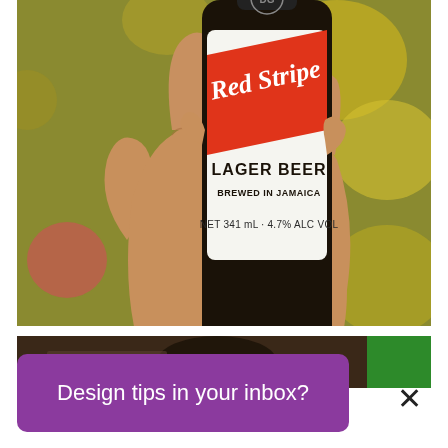[Figure (photo): A hand holding a Red Stripe Lager Beer bottle (NET 341 mL, 4.7% ALC VOL, Brewed in Jamaica) against a blurred outdoor background with warm golden-green bokeh.]
[Figure (photo): Partial second photo showing a dark bottle against a green background, partially cropped.]
Design tips in your inbox?